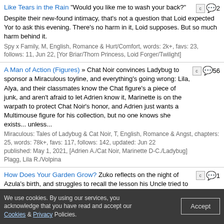Like Tears in the Rain "Would you like me to wash your back?" Despite their new-found intimacy, that's not a question that Loid expected Yor to ask this evening. There's no harm in it, Loid supposes. But so much harm behind it. Spy x Family, M, English, Romance & Hurt/Comfort, words: 2k+, favs: 23, follows: 11, Jun 22, [Yor Briar/Thorn Princess, Loid Forger/Twilight]
A Man of Action (Figures) » Chat Noir convinces Ladybug to sponsor a Miraculous toyline, and everything's going wrong: Lila, Alya, and their classmates know the Chat figure's a piece of junk, and aren't afraid to let Adrien know it, Marinette is on the warpath to protect Chat Noir's honor, and Adrien just wants a Multimouse figure for his collection, but no one knows she exists... unless... Miraculous: Tales of Ladybug & Cat Noir, T, English, Romance & Angst, chapters: 25, words: 78k+, favs: 117, follows: 142, updated: Jun 22 published: May 1, 2021, [Adrien A./Cat Noir, Marinette D-C./Ladybug] Plagg, Lila R./Volpina
How Does Your Garden Grow? Zuko reflects on the night of Azula's birth, and struggles to recall the lesson his Uncle tried to teach him that night, so long ago. Now, he asks to be taught once more. Avatar: Last Airbender, T, English, Drama & Family, words: 1k+, favs: 3, May 17, Zuko, Iroh, Azula
May I Have the Honor of Taking Your Life? Yor enjoys conversing with her husband. In fact, she adores it. He has such a lovely way with words. Such a talented mouth… In fact, it's so skilled that he's capable
We use cookies. By using our services, you acknowledge that you have read and accept our Cookies & Privacy Policies. Accept